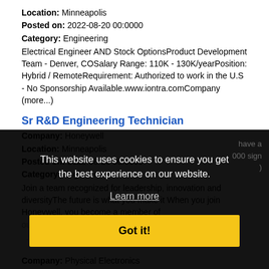Location: Minneapolis
Posted on: 2022-08-20 00:0000
Category: Engineering
Electrical Engineer AND Stock OptionsProduct Development Team - Denver, COSalary Range: 110K - 130K/yearPosition: Hybrid / RemoteRequirement: Authorized to work in the U.S - No Sponsorship Available.www.iontra.comCompany (more...)
Sr R&D Engineering Technician
Company: Honeywell
Location: Minneapolis
Posted on: 2022-08-20 00:0000
Category: Engineering
Join a team recognized for leadership, innovation and diversityThe future is what you make it When you join Honeywell, you become a member of our global team of thinkers, ... (more...)
[Figure (screenshot): Cookie consent overlay with dark background. Text reads: 'This website uses cookies to ensure you get the best experience on our website.' with a 'Learn more' link and a yellow 'Got it!' button. Partially visible text behind overlay mentions 'have a' and '000 sign' and right-side text snippet.]
Company: Physical Electronics